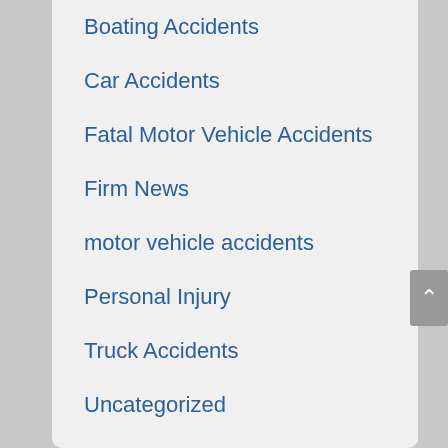Boating Accidents
Car Accidents
Fatal Motor Vehicle Accidents
Firm News
motor vehicle accidents
Personal Injury
Truck Accidents
Uncategorized
wrongful death
RSS Feed
Subscribe To This Blog's Feed